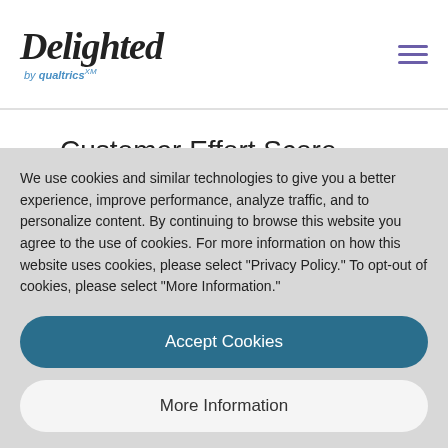Delighted by qualtrics
Customer Effort Score surveys help you identify how much effort it takes for customers to get the support they need and expect.
A CES survey asks customers to select how
We use cookies and similar technologies to give you a better experience, improve performance, analyze traffic, and to personalize content. By continuing to browse this website you agree to the use of cookies. For more information on how this website uses cookies, please select "Privacy Policy." To opt-out of cookies, please select "More Information."
Accept Cookies
More Information